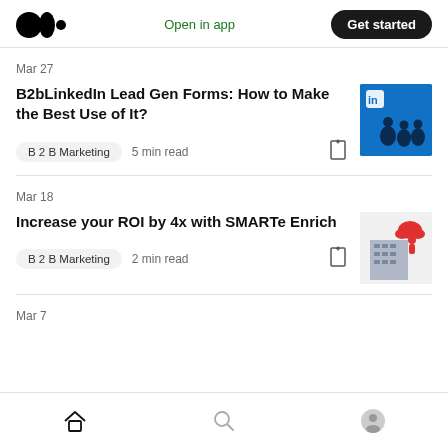Medium logo | Open in app | Get started
Mar 27
B2bLinkedIn Lead Gen Forms: How to Make the Best Use of It?
B 2 B Marketing · 5 min read
[Figure (illustration): LinkedIn branded image showing silhouettes of people networking on a blue background]
Mar 18
Increase your ROI by 4x with SMARTe Enrich
B 2 B Marketing · 2 min read
[Figure (illustration): Illustration showing a building with a person on top, red cloud motif, SMARTe branding]
Mar 7
Home | Search | Profile